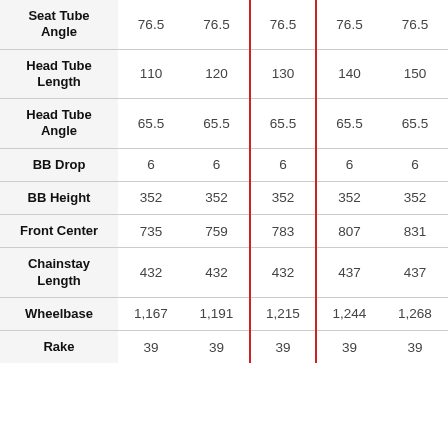|  | Col1 | Col2 | Col3 | Col4 | Col5 |
| --- | --- | --- | --- | --- | --- |
| Seat Tube Angle | 76.5 | 76.5 | 76.5 | 76.5 | 76.5 |
| Head Tube Length | 110 | 120 | 130 | 140 | 150 |
| Head Tube Angle | 65.5 | 65.5 | 65.5 | 65.5 | 65.5 |
| BB Drop | 6 | 6 | 6 | 6 | 6 |
| BB Height | 352 | 352 | 352 | 352 | 352 |
| Front Center | 735 | 759 | 783 | 807 | 831 |
| Chainstay Length | 432 | 432 | 432 | 437 | 437 |
| Wheelbase | 1,167 | 1,191 | 1,215 | 1,244 | 1,268 |
| Rake | 39 | 39 | 39 | 39 | 39 |